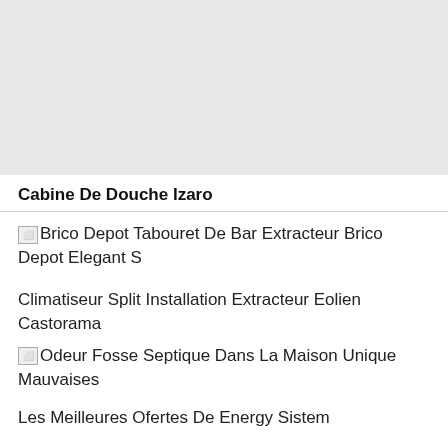[Figure (photo): Light gray placeholder rectangle representing an image area]
Cabine De Douche Izaro
Brico Depot Tabouret De Bar Extracteur Brico Depot Elegant S
Climatiseur Split Installation Extracteur Eolien Castorama
Odeur Fosse Septique Dans La Maison Unique Mauvaises
Les Meilleures Ofertes De Energy Sistem